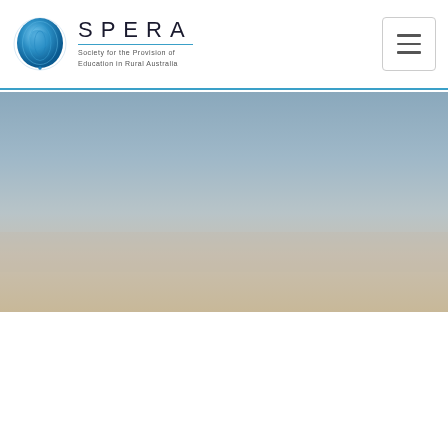SPERA — Society for the Provision of Education in Rural Australia (logo and navigation header)
[Figure (photo): Full-width hero background image showing a gradient sky — blue-grey at top transitioning to warm beige/sandy tones at the bottom, suggesting an Australian rural landscape at dusk or dawn.]